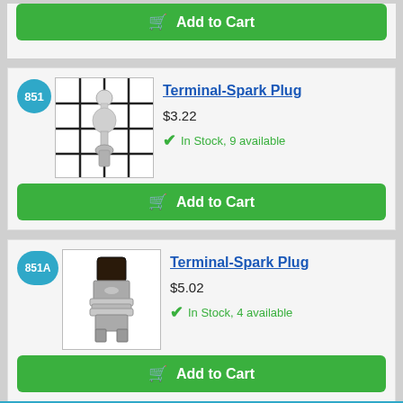[Figure (screenshot): Add to Cart button (partial, top of page) - green button with cart icon]
851
[Figure (photo): Terminal-Spark Plug product image #851 - silver/chrome spark plug terminal on grid background]
Terminal-Spark Plug
$3.22
In Stock, 9 available
[Figure (screenshot): Add to Cart button - green button with cart icon]
851A
[Figure (photo): Terminal-Spark Plug product image #851A - metal spark plug terminal connector]
Terminal-Spark Plug
$5.02
In Stock, 4 available
[Figure (screenshot): Add to Cart button - green button with cart icon]